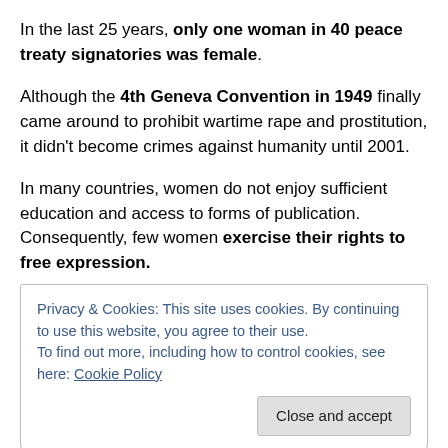In the last 25 years, only one woman in 40 peace treaty signatories was female.
Although the 4th Geneva Convention in 1949 finally came around to prohibit wartime rape and prostitution, it didn't become crimes against humanity until 2001.
In many countries, women do not enjoy sufficient education and access to forms of publication. Consequently, few women exercise their rights to free expression.
Privacy & Cookies: This site uses cookies. By continuing to use this website, you agree to their use.
To find out more, including how to control cookies, see here: Cookie Policy
Close and accept
opinion…